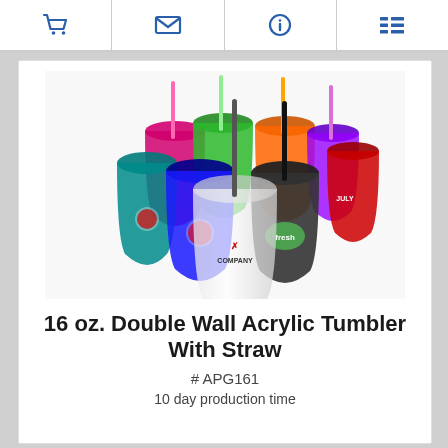Navigation bar with cart, email, info, and list icons
[Figure (photo): Multiple colorful 16 oz. double wall acrylic tumblers with straws in various colors including clear, blue, black, red, teal, green, pink, purple and orange, each with branded logos/decals.]
16 oz. Double Wall Acrylic Tumbler With Straw
# APG161
10 day production time